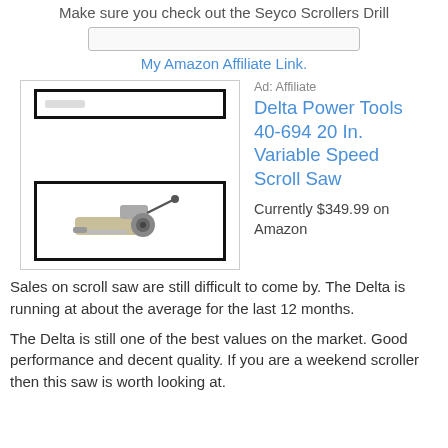Make sure you check out the Seyco Scrollers Drill
My Amazon Affiliate Link.
[Figure (screenshot): Amazon affiliate ad block showing Delta Power Tools 40-694 20 In. Variable Speed Scroll Saw with product image on left and product info on right]
Ad: Affiliate
Delta Power Tools 40-694 20 In. Variable Speed Scroll Saw
Currently $349.99 on Amazon
Sales on scroll saw are still difficult to come by. The Delta is running at about the average for the last 12 months.
The Delta is still one of the best values on the market. Good performance and decent quality. If you are a weekend scroller then this saw is worth looking at.